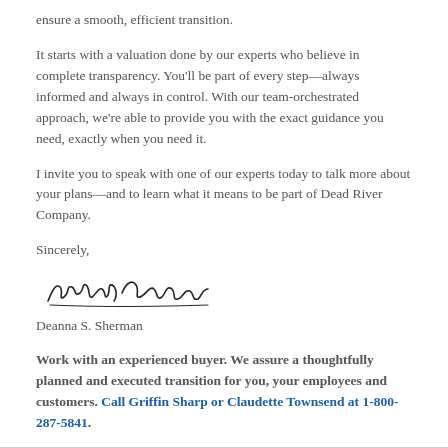ensure a smooth, efficient transition.
It starts with a valuation done by our experts who believe in complete transparency. You'll be part of every step—always informed and always in control. With our team-orchestrated approach, we're able to provide you with the exact guidance you need, exactly when you need it.
I invite you to speak with one of our experts today to talk more about your plans—and to learn what it means to be part of Dead River Company.
Sincerely,
[Figure (illustration): Handwritten signature of Deanna S. Sherman]
Deanna S. Sherman
Work with an experienced buyer. We assure a thoughtfully planned and executed transition for you, your employees and customers. Call Griffin Sharp or Claudette Townsend at 1-800-287-5841.